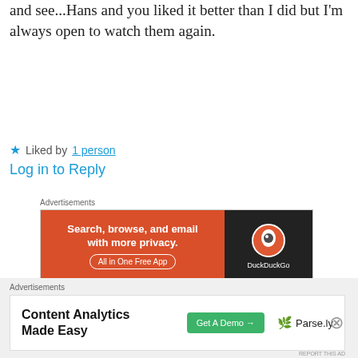I'm going to watch them all once again...and see...Hans and you liked it better than I did but I'm always open to watch them again.
★ Liked by 1 person
Log in to Reply
[Figure (screenshot): DuckDuckGo advertisement banner: orange left section with text 'Search, browse, and email with more privacy. All in One Free App' and dark right section with DuckDuckGo logo]
Paul
September 5, 2021 at 8:28 am
[Figure (screenshot): Parse.ly advertisement banner: white background with bold text 'Content Analytics Made Easy', green 'Get A Demo →' button, and Parse.ly logo]